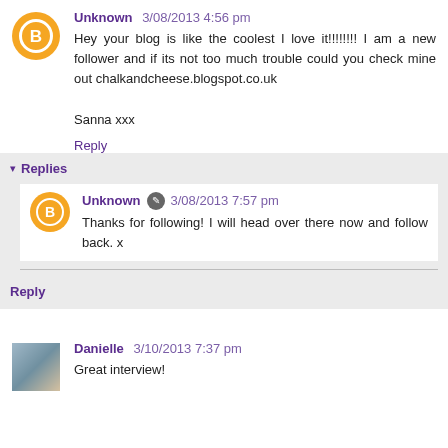Unknown 3/08/2013 4:56 pm
Hey your blog is like the coolest I love it!!!!!!!! I am a new follower and if its not too much trouble could you check mine out chalkandcheese.blogspot.co.uk

Sanna xxx
Reply
▾ Replies
Unknown ✎ 3/08/2013 7:57 pm
Thanks for following! I will head over there now and follow back. x
Reply
Danielle 3/10/2013 7:37 pm
Great interview!